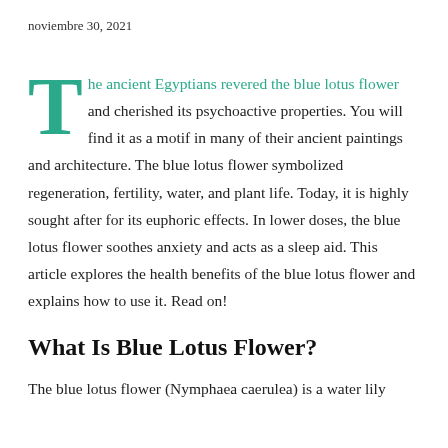noviembre 30, 2021
The ancient Egyptians revered the blue lotus flower and cherished its psychoactive properties. You will find it as a motif in many of their ancient paintings and architecture. The blue lotus flower symbolized regeneration, fertility, water, and plant life. Today, it is highly sought after for its euphoric effects. In lower doses, the blue lotus flower soothes anxiety and acts as a sleep aid. This article explores the health benefits of the blue lotus flower and explains how to use it. Read on!
What Is Blue Lotus Flower?
The blue lotus flower (Nymphaea caerulea) is a water lily